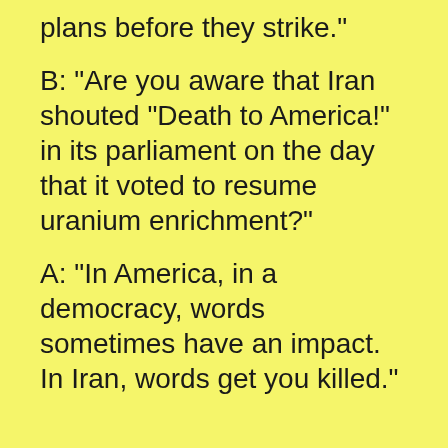plans before they strike."
B: "Are you aware that Iran shouted "Death to America!" in its parliament on the day that it voted to resume uranium enrichment?"
A: "In America, in a democracy, words sometimes have an impact. In Iran, words get you killed."